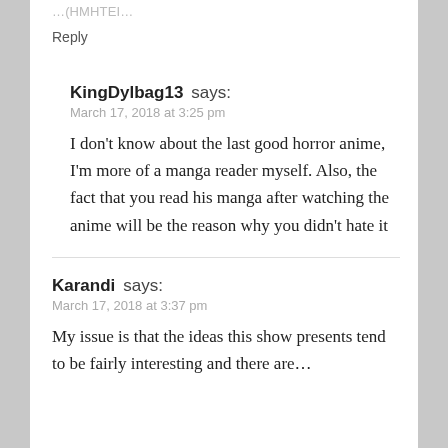…(truncated)
Reply
KingDylbag13 says:
March 17, 2018 at 3:25 pm
I don't know about the last good horror anime, I'm more of a manga reader myself. Also, the fact that you read his manga after watching the anime will be the reason why you didn't hate it
Karandi says:
March 17, 2018 at 3:37 pm
My issue is that the ideas this show presents tend to be fairly interesting and there are…(truncated)